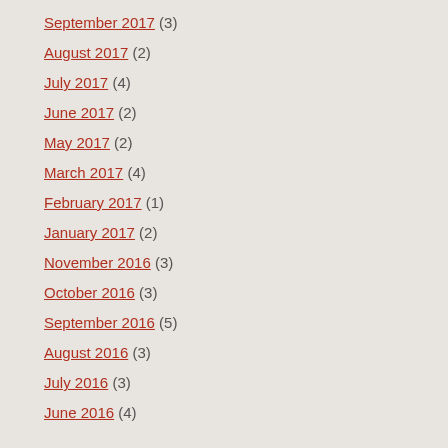September 2017 (3)
August 2017 (2)
July 2017 (4)
June 2017 (2)
May 2017 (2)
March 2017 (4)
February 2017 (1)
January 2017 (2)
November 2016 (3)
October 2016 (3)
September 2016 (5)
August 2016 (3)
July 2016 (3)
June 2016 (4)